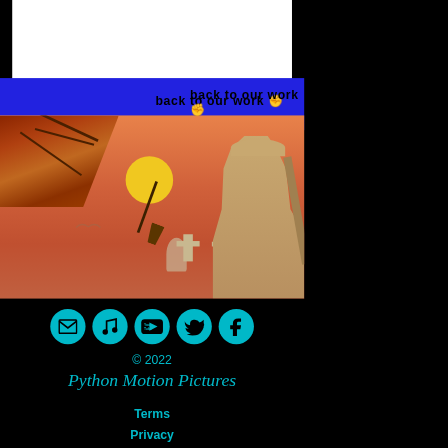[Figure (illustration): Artistic illustration: warm orange-pink sunset sky with a large yellow sun in the center. Autumn leaves in upper left, a soldier figure on the right, two grave crosses in the foreground, a bird in flight, and small ghost-like figure. Painted style reminiscent of a movie poster.]
back to our work
[Figure (infographic): Row of five teal/cyan circular social media icons on black background: email envelope, music note, YouTube, Twitter bird, Facebook F]
© 2022
[Figure (logo): Python Motion Pictures logo in teal cursive script on black background]
Terms
Privacy